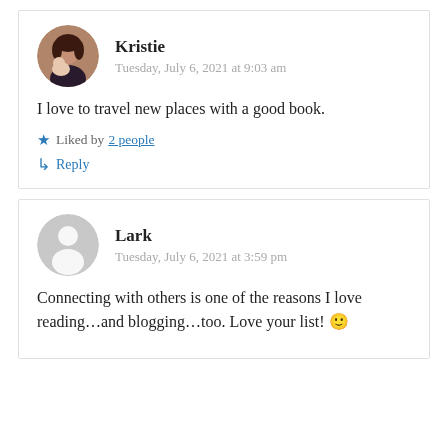[Figure (photo): Circular avatar photo of Kristie showing a woman with dark hair holding a baby]
Kristie
Tuesday, July 6, 2021 at 9:03 am
I love to travel new places with a good book.
★ Liked by 2 people
↳ Reply
[Figure (illustration): Circular generic gray avatar icon for Lark]
Lark
Tuesday, July 6, 2021 at 3:59 pm
Connecting with others is one of the reasons I love reading...and blogging...too. Love your list! 🙂